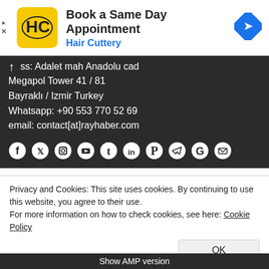[Figure (other): Advertisement banner for Hair Cuttery: 'Book a Same Day Appointment' with logo and navigation icon]
ss: Adalet mah Anadolu cad
Megapol Tower 41 / 81
Bayraklı / Izmir Turkey
Whatsapp: +90 553 770 52 69
email: contact[at]rayhaber.com
[Figure (other): Row of social media icons: Facebook, Twitter, Instagram, YouTube, Tumblr, LinkedIn, Pinterest, Telegram, Google, Email]
Privacy and Cookies: This site uses cookies. By continuing to use this website, you agree to their use.
For more information on how to check cookies, see here: Cookie Policy
OK
Show AMP version